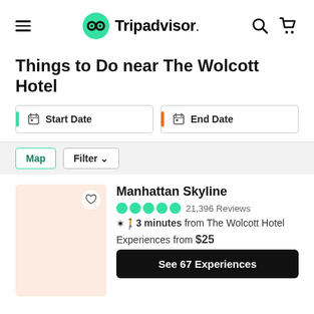Tripadvisor navigation bar with hamburger menu, Tripadvisor logo, search and cart icons
Things to Do near The Wolcott Hotel
Start Date | End Date
Map   Filter
Manhattan Skyline
21,396 Reviews
3 minutes from The Wolcott Hotel
Experiences from $25
See 67 Experiences